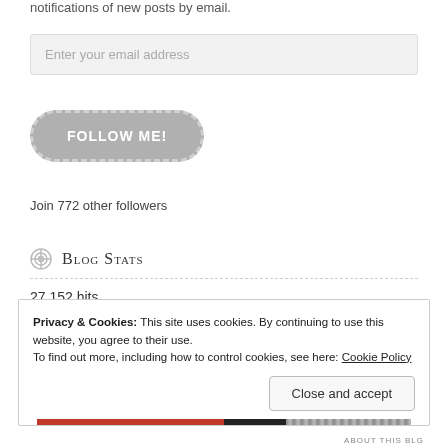notifications of new posts by email.
Enter your email address
[Figure (other): FOLLOW ME! button — a rounded pill-shaped grey button with dashed white inner border and bold white text reading FOLLOW ME!]
Join 772 other followers
Blog Stats
27,152 hits
Privacy & Cookies: This site uses cookies. By continuing to use this website, you agree to their use.
To find out more, including how to control cookies, see here: Cookie Policy
Close and accept